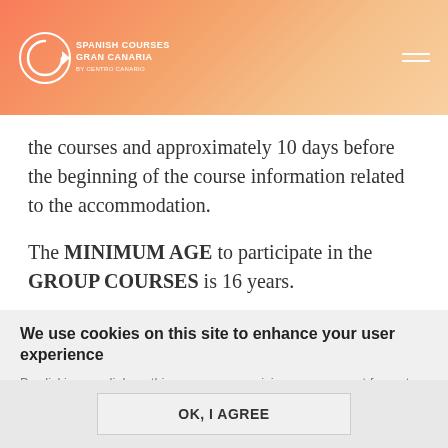[Figure (logo): Spanish Courses Gran Canaria logo with circular arrow icon on coral/salmon gradient header background]
the courses and approximately 10 days before the beginning of the course information related to the accommodation.
The MINIMUM AGE to participate in the GROUP COURSES is 16 years.
We use cookies on this site to enhance your user experience
By clicking any link on this page you are giving your consent for us to set cookies.
OK, I AGREE